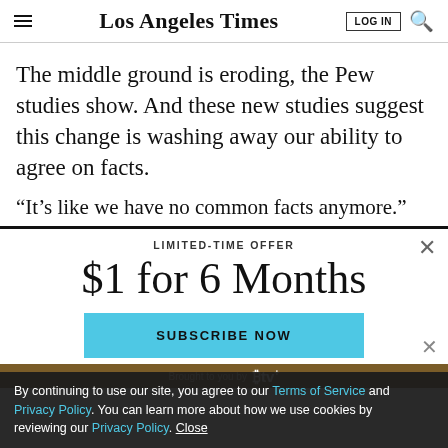Los Angeles Times
The middle ground is eroding, the Pew studies show. And these new studies suggest this change is washing away our ability to agree on facts.
“It’s like we have no common facts anymore.”
LIMITED-TIME OFFER
$1 for 6 Months
SUBSCRIBE NOW
By continuing to use our site, you agree to our Terms of Service and Privacy Policy. You can learn more about how we use cookies by reviewing our Privacy Policy. Close